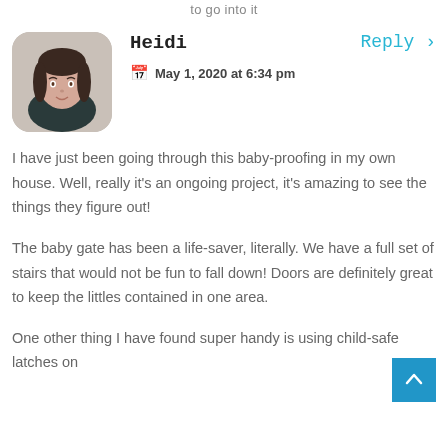to go into it
Heidi
May 1, 2020 at 6:34 pm
Reply ›
[Figure (photo): Circular avatar photo of a woman with dark hair wearing a dark top, rounded square crop]
I have just been going through this baby-proofing in my own house. Well, really it's an ongoing project, it's amazing to see the things they figure out!
The baby gate has been a life-saver, literally. We have a full set of stairs that would not be fun to fall down! Doors are definitely great to keep the littles contained in one area.
One other thing I have found super handy is using child-safe latches on